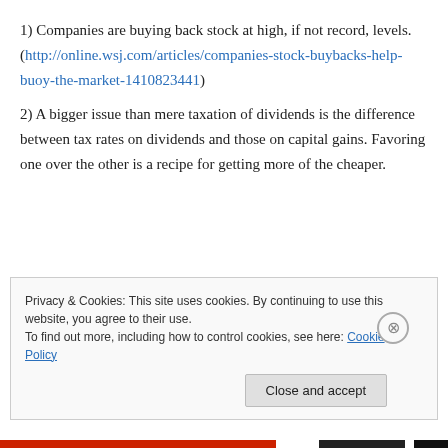1) Companies are buying back stock at high, if not record, levels. (http://online.wsj.com/articles/companies-stock-buybacks-help-buoy-the-market-1410823441)
2) A bigger issue than mere taxation of dividends is the difference between tax rates on dividends and those on capital gains. Favoring one over the other is a recipe for getting more of the cheaper.
Privacy & Cookies: This site uses cookies. By continuing to use this website, you agree to their use. To find out more, including how to control cookies, see here: Cookie Policy